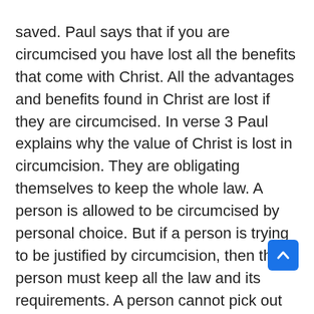saved. Paul says that if you are circumcised you have lost all the benefits that come with Christ. All the advantages and benefits found in Christ are lost if they are circumcised. In verse 3 Paul explains why the value of Christ is lost in circumcision. They are obligating themselves to keep the whole law. A person is allowed to be circumcised by personal choice. But if a person is trying to be justified by circumcision, then the person must keep all the law and its requirements. A person cannot pick out one law by which to declare one justified. One is under obligation to keep all the law if you are trying to find justification through the law. As we have noticed many times in Paul's arguments, the purpose of the law was not to justify people but to show people that they need to put their hope in God because the law cannot justify. We have an important reminder for that we cannot add something to the gospel and still remain